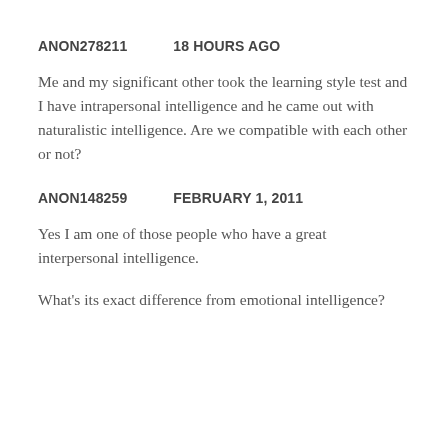ANON278211   18 HOURS AGO
Me and my significant other took the learning style test and I have intrapersonal intelligence and he came out with naturalistic intelligence. Are we compatible with each other or not?
ANON148259   FEBRUARY 1, 2011
Yes I am one of those people who have a great interpersonal intelligence.
What's its exact difference from emotional intelligence?